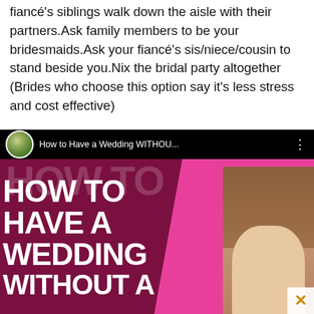fiancé's siblings walk down the aisle with their partners.Ask family members to be your bridesmaids.Ask your fiancé's sis/niece/cousin to stand beside you.Nix the bridal party altogether (Brides who choose this option say it's less stress and cost effective)
[Figure (screenshot): YouTube video thumbnail/preview showing title 'How to Have a Wedding WITHOU...' with large bold white text on dark magenta background reading 'HOW TO HAVE A WEDDING WITHOUT A' and a woman's face on the right side. Has a close X button in the bottom right corner.]